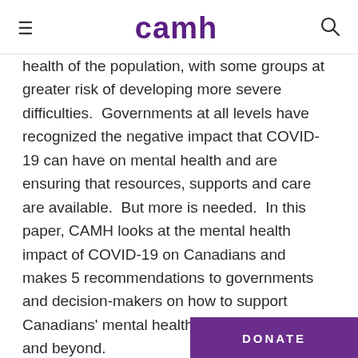camh
health of the population, with some groups at greater risk of developing more severe difficulties.  Governments at all levels have recognized the negative impact that COVID-19 can have on mental health and are ensuring that resources, supports and care are available.  But more is needed.  In this paper, CAMH looks at the mental health impact of COVID-19 on Canadians and  makes 5 recommendations to governments and decision-makers on how to support Canadians' mental health during COVID-19 and beyond.
January 2020